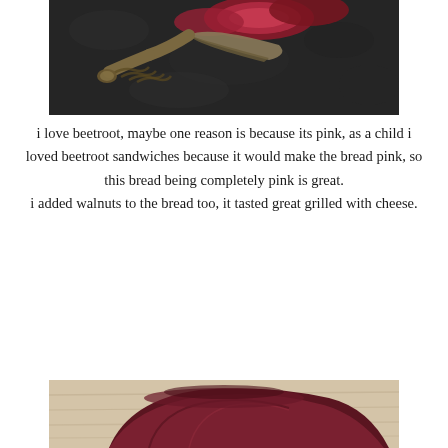[Figure (photo): Close-up dark moody photo of beetroot slices with a decorative knife with braided/woven handle on a dark stone surface]
i love beetroot, maybe one reason is because its pink, as a child i loved beetroot sandwiches because it would make the bread pink, so this bread being completely pink is great.
i added walnuts to the bread too, it tasted great grilled with cheese.
[Figure (photo): Bottom portion of a photo showing a dark reddish-purple beetroot bread loaf on a wooden surface]